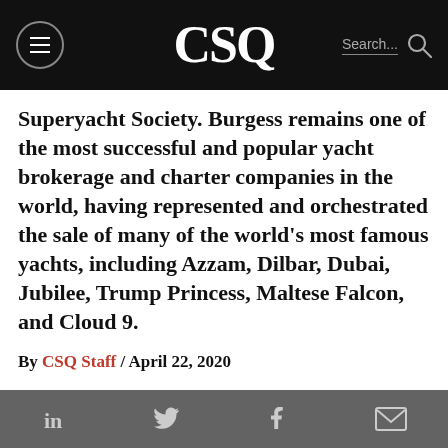CSQ
Superyacht Society. Burgess remains one of the most successful and popular yacht brokerage and charter companies in the world, having represented and orchestrated the sale of many of the world’s most famous yachts, including Azzam, Dilbar, Dubai, Jubilee, Trump Princess, Maltese Falcon, and Cloud 9.
By CSQ Staff / April 22, 2020
in     f  ✉